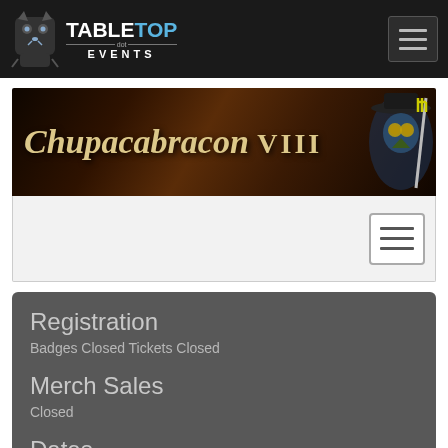TABLETOP dot EVENTS — navigation bar with logo
[Figure (screenshot): Chupacabracon VIII event banner image with stylized plague doctor character holding a trident, dark medieval background]
[Figure (screenshot): White sub-banner with hamburger menu icon on right]
Registration
Badges Closed Tickets Closed
Merch Sales
Closed
Dates
Fri, May 6 2022, 12:00pm - 12:00am
Sat, May 7 2022, 8:00am - 12:00am